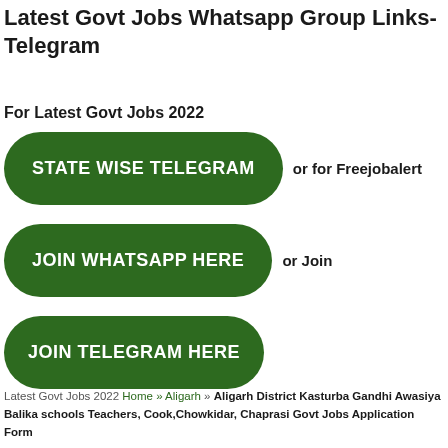Latest Govt Jobs Whatsapp Group Links- Telegram
For Latest Govt Jobs 2022
[Figure (infographic): Three dark green rounded button-style elements stacked vertically. Button 1: 'STATE WISE TELEGRAM' with text 'or for Freejobalert' to the right. Button 2: 'JOIN WHATSAPP HERE' with text 'or Join' to the right. Button 3: 'JOIN TELEGRAM HERE'.]
Latest Govt Jobs 2022 Home » Aligarh » Aligarh District Kasturba Gandhi Awasiya Balika schools Teachers, Cook,Chowkidar, Chaprasi Govt Jobs Application Form